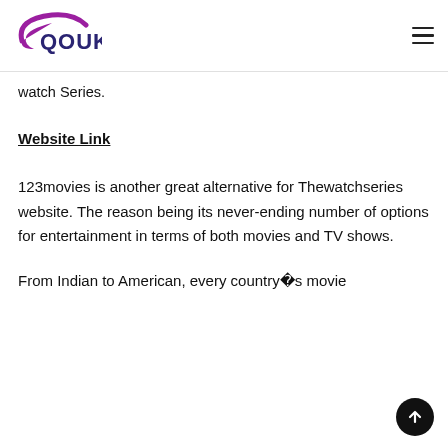QOUK
watch Series.
Website Link
123movies is another great alternative for Thewatchseries website. The reason being its never-ending number of options for entertainment in terms of both movies and TV shows.
From Indian to American, every country�s movie